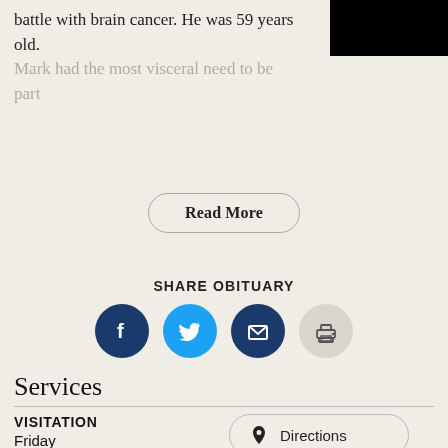battle with brain cancer. He was 59 years old.
Mark had the most visceral need to be part
[Figure (photo): Black rectangle image placeholder in top right corner]
Read More
SHARE OBITUARY
[Figure (infographic): Four social sharing icons: Facebook (dark blue), Twitter (light blue), Email (dark blue), Print (gray)]
Services
VISITATION
Friday
May 20, 2022
5:00 PM to 7:00 PM
Directions
Text Details